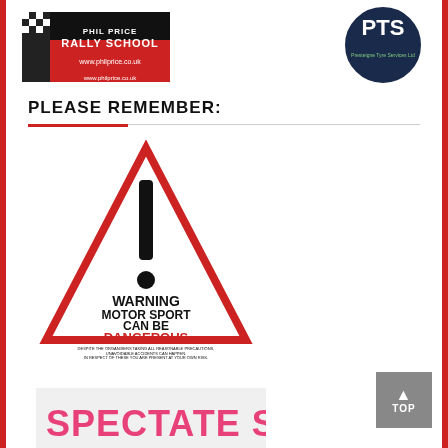[Figure (logo): Phil Price Rally School logo with red banner and www.philprice.co.uk URL]
[Figure (logo): PTS Presteigne Tyre Services Ltd circular logo in navy blue]
PLEASE REMEMBER:
[Figure (illustration): Warning triangle sign with exclamation mark reading: WARNING MOTOR SPORT CAN BE DANGEROUS. Despite the organisers taking all reasonable precautions, unavoidable accidents can happen. In respect of these you are present at your own risk.]
[Figure (illustration): Spectate Safely! banner in pink/red text on light background]